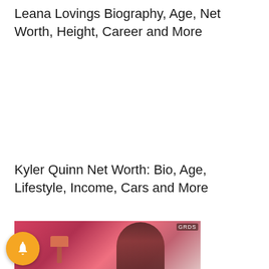Leana Lovings Biography, Age, Net Worth, Height, Career and More
Kyler Quinn Net Worth: Bio, Age, Lifestyle, Income, Cars and More
[Figure (photo): Partial photo of a woman with long dark hair in a pink-toned room with a lamp and pink wall decor, partially cropped at bottom of page. A notification bell button overlays the bottom-left corner.]